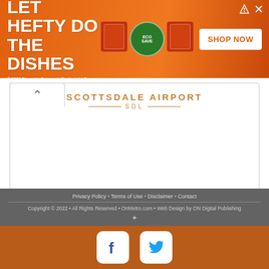[Figure (photo): Orange advertisement banner for Hefty dish soap products with text 'LET HEFTY DO THE DISHES', product images, and a 'SHOP NOW' button]
[Figure (infographic): Scottsdale Airport (SDL) card with tab-style UI element showing an up arrow, airport name and code in gold lettering]
OnScottsdale.com is a directory and information guide for Scottsdale, Arizona Discover the best of Scottsdale shopping, restaurants, night life, breweries, events, business, outdoors, fun, local life, real estate, transportation, jobs, and schools.
Looking for what to do in Scottsdale? OnScottsdale.com has columnists, and bloggers to keep you up to date on the best of Scottsdale, Arizona.
Privacy Policy • Terms of Use • Disclaimer • Contact
Copyright © 2022 • All Rights Reserved • OnMetro.com • Web Design by ON Digital Publishing